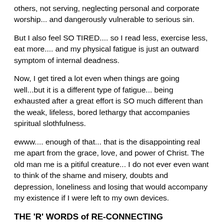others, not serving, neglecting personal and corporate worship... and dangerously vulnerable to serious sin.
But I also feel SO TIRED.... so I read less, exercise less, eat more.... and my physical fatigue is just an outward symptom of internal deadness.
Now, I get tired a lot even when things are going well...but it is a different type of fatigue... being exhausted after a great effort is SO much different than the weak, lifeless, bored lethargy that accompanies spiritual slothfulness.
ewww.... enough of that... that is the disappointing real me apart from the grace, love, and power of Christ. The old man me is a pitiful creature... I do not ever even want to think of the shame and misery, doubts and depression, loneliness and losing that would accompany my existence if I were left to my own devices.
THE 'R' WORDS of RE-CONNECTING
So when I think about Re-connecting after a time of drifting, I